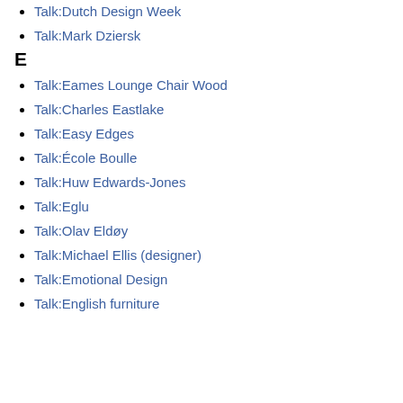Talk:Dutch Design Week
Talk:Mark Dziersk
E
Talk:Eames Lounge Chair Wood
Talk:Charles Eastlake
Talk:Easy Edges
Talk:École Boulle
Talk:Huw Edwards-Jones
Talk:Eglu
Talk:Olav Eldøy
Talk:Michael Ellis (designer)
Talk:Emotional Design
Talk:English furniture